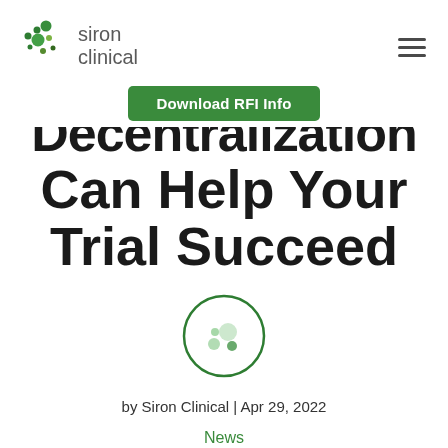[Figure (logo): Siron Clinical logo with dot-pattern icon and text 'siron clinical']
Download RFI Info
Decentralization Can Help Your Trial Succeed
[Figure (logo): Siron Clinical circular icon logo]
by Siron Clinical | Apr 29, 2022
News